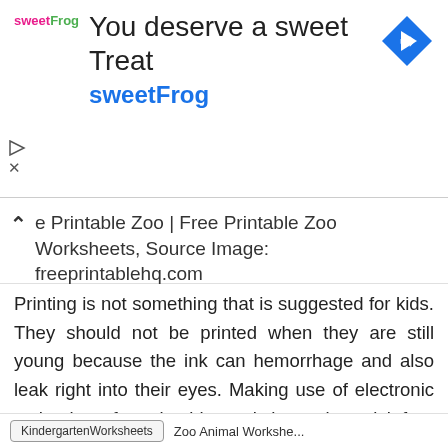[Figure (screenshot): SweetFrog advertisement banner with logo, title 'You deserve a sweet Treat', subtitle 'sweetFrog', and a blue diamond navigation icon on the right.]
e Printable Zoo | Free Printable Zoo Worksheets, Source Image: freeprintablehq.com
Printing is not something that is suggested for kids. They should not be printed when they are still young because the ink can hemorrhage and also leak right into their eyes. Making use of electronic technology for printable worksheets is a risk-free method to secure the print head of the printer and also avoid unintended damage to the paper.